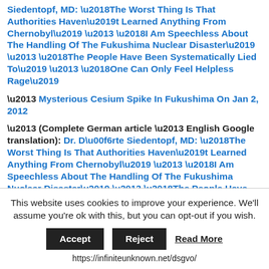Siedentopf, MD: ‘The Worst Thing Is That Authorities Haven’t Learned Anything From Chernobyl’ – ‘I Am Speechless About The Handling Of The Fukushima Nuclear Disaster’ – ‘The People Have Been Systematically Lied To’ – ‘One Can Only Feel Helpless Rage’
– Mysterious Cesium Spike In Fukushima On Jan 2, 2012
– (Complete German article – English Google translation): Dr. Dörte Siedentopf, MD: ‘The Worst Thing Is That Authorities Haven’t Learned Anything From Chernobyl’ – ‘I Am Speechless About The Handling Of The Fukushima Nuclear Disaster’ – ‘The People Have Been Systematically Lied To’ – ‘One Can Only Feel Helpless Rage’
– Yomiuri: ‘Relatively’ High External Radiation
This website uses cookies to improve your experience. We’ll assume you’re ok with this, but you can opt-out if you wish.
Accept | Reject | Read More
https://infiniteunknown.net/dsgvo/